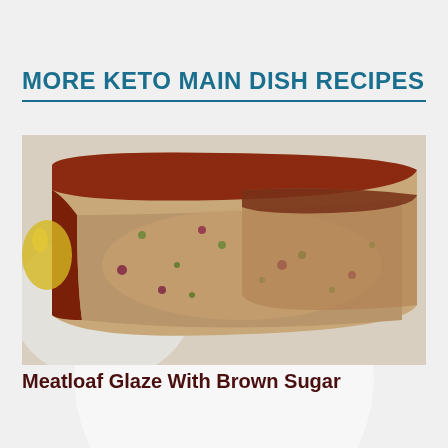MORE KETO MAIN DISH RECIPES
[Figure (photo): Sliced meatloaf with a dark red-brown glaze on a white plate, showing the interior with visible vegetable pieces (green onion, red onion, etc.)]
Meatloaf Glaze With Brown Sugar